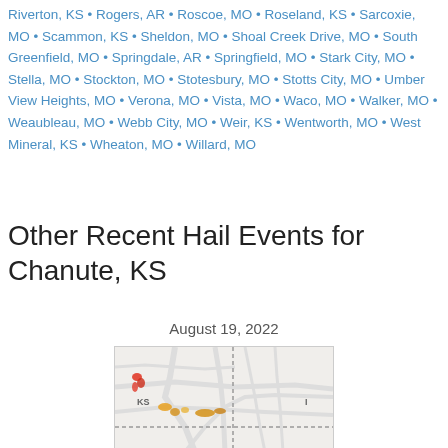Riverton, KS • Rogers, AR • Roscoe, MO • Roseland, KS • Sarcoxie, MO • Scammon, KS • Sheldon, MO • Shoal Creek Drive, MO • South Greenfield, MO • Springdale, AR • Springfield, MO • Stark City, MO • Stella, MO • Stockton, MO • Stotesbury, MO • Stotts City, MO • Umber View Heights, MO • Verona, MO • Vista, MO • Waco, MO • Walker, MO • Weaubleau, MO • Webb City, MO • Weir, KS • Wentworth, MO • West Mineral, KS • Wheaton, MO • Willard, MO
Other Recent Hail Events for Chanute, KS
August 19, 2022
[Figure (map): A regional map showing hail event locations near Chanute, KS area. The map shows road networks with gray lines, a dashed state border line, and several orange/red hail markers scattered across the Kansas area. Labels include 'KS' and 'I' visible on the map.]